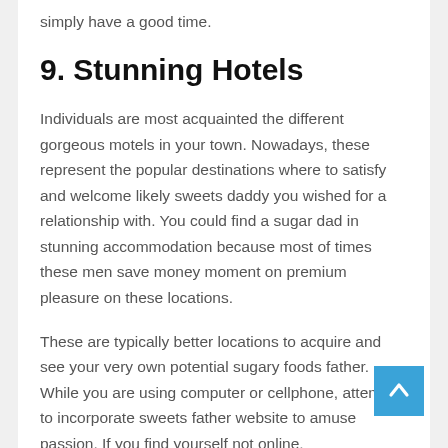simply have a good time.
9. Stunning Hotels
Individuals are most acquainted the different gorgeous motels in your town. Nowadays, these represent the popular destinations where to satisfy and welcome likely sweets daddy you wished for a relationship with. You could find a sugar dad in stunning accommodation because most of times these men save money moment on premium pleasure on these locations.
These are typically better locations to acquire and see your very own potential sugary foods father. While you are using computer or cellphone, attempt to incorporate sweets father website to amuse passion. If you find yourself not online,